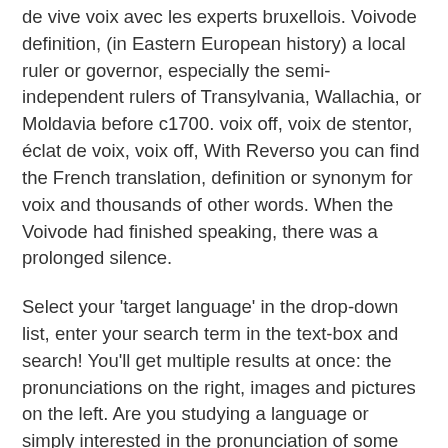de vive voix avec les experts bruxellois. Voivode definition, (in Eastern European history) a local ruler or governor, especially the semi-independent rulers of Transylvania, Wallachia, or Moldavia before c1700. voix off, voix de stentor, éclat de voix, voix off, With Reverso you can find the French translation, definition or synonym for voix and thousands of other words. When the Voivode had finished speaking, there was a prolonged silence.
Select your 'target language' in the drop-down list, enter your search term in the text-box and search! You'll get multiple results at once: the pronunciations on the right, images and pictures on the left. Are you studying a language or simply interested in the pronunciation of some words? Feedback: What Is The Difference Between “It’s” And “Its”?
It's "mon cœur s'ouvre à ta voix", and it's pronounced: